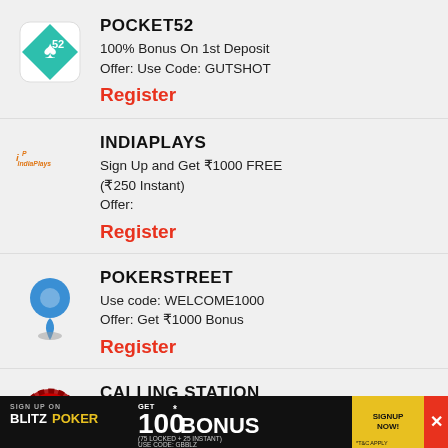[Figure (logo): Pocket52 logo - teal diamond with spade and card suit icons]
POCKET52
100% Bonus On 1st Deposit
Offer: Use Code: GUTSHOT
Register
[Figure (logo): IndiaPlays logo - orange IP text]
INDIAPLAYS
Sign Up and Get ₹1000 FREE (₹250 Instant)
Offer:
Register
[Figure (logo): PokerStreet logo - blue location pin icon]
POKERSTREET
Use code: WELCOME1000
Offer: Get ₹1000 Bonus
Register
[Figure (logo): Calling Station badge logo]
CALLING STATION
Sign-up with "GUTSHT"
[Figure (infographic): BlitzPoker banner ad - Sign up on BlitzPoker, Get 100* Bonus (75 Locked + 25 Instant), Use Code: GBBLZ, SIGNUP NOW!]